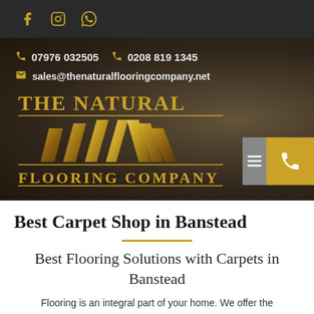[Figure (screenshot): Social media icons bar with Facebook, Instagram, and WhatsApp icons in gold on dark background]
[Figure (logo): The Natural Flooring Company logo with gold gradient flooring graphic and contact details: 07976 032505, 0208 819 1345, sales@thenaturalflooringcompany.net on dark brown background]
Best Carpet Shop in Banstead
Best Flooring Solutions with Carpets in Banstead
Flooring is an integral part of your home. We offer the